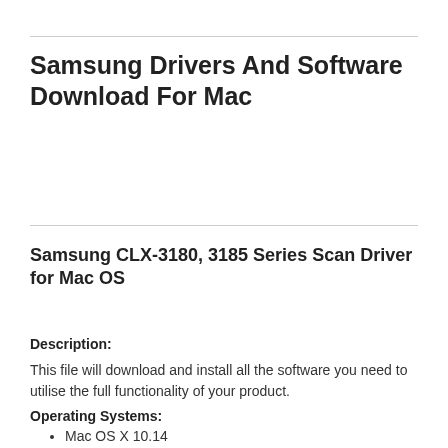Samsung Drivers And Software Download For Mac
Samsung CLX-3180, 3185 Series Scan Driver for Mac OS
Description:
This file will download and install all the software you need to utilise the full functionality of your product.
Operating Systems:
Mac OS X 10.14
Mac OS X 10.13